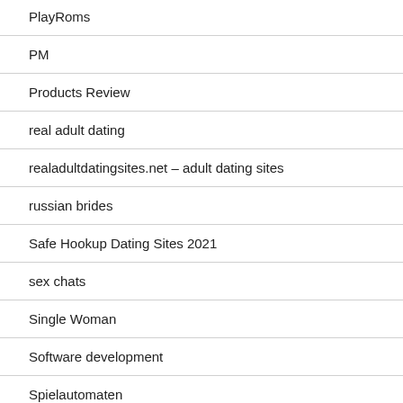PlayRoms
PM
Products Review
real adult dating
realadultdatingsites.net – adult dating sites
russian brides
Safe Hookup Dating Sites 2021
sex chats
Single Woman
Software development
Spielautomaten